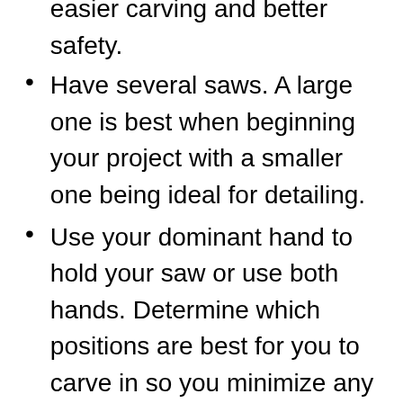easier carving and better safety.
Have several saws. A large one is best when beginning your project with a smaller one being ideal for detailing.
Use your dominant hand to hold your saw or use both hands. Determine which positions are best for you to carve in so you minimize any bad habits.
Read books about wood carving to help you to get ideas.
If you are unable to design plans